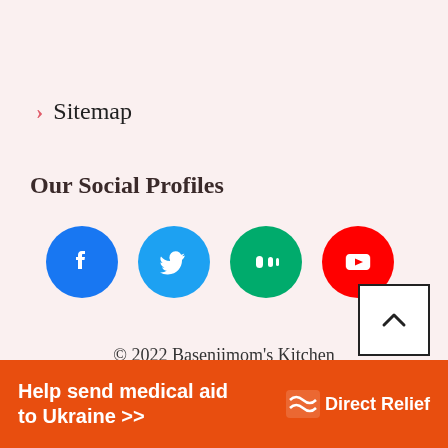> Sitemap
Our Social Profiles
[Figure (illustration): Four social media icons in circles: Facebook (blue), Twitter (blue), Medium (green), YouTube (red)]
© 2022 Basenjimom's Kitchen
[Figure (illustration): Back to top button - white square with up chevron]
Help send medical aid to Ukraine >> Direct Relief